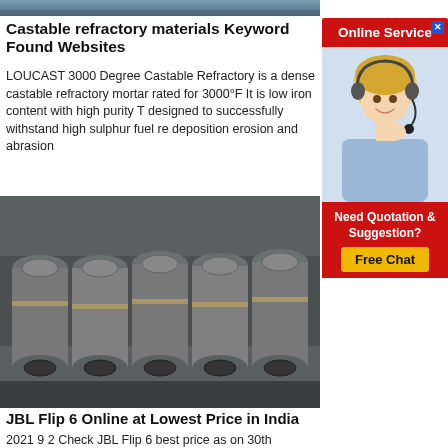[Figure (photo): Top strip of a product image (partially visible, bluish-grey industrial material)]
Castable refractory materials Keyword Found Websites
LOUCAST 3000 Degree Castable Refractory is a dense castable refractory mortar rated for 3000°F It is low iron content with high purity T designed to successfully withstand high sulphur fuel re deposition erosion and abrasion
[Figure (photo): Industrial graphite rolls/electrodes stacked in a warehouse, cylindrical grey metallic rods bound with rope, stored on shelves]
[Figure (photo): Advertisement panel: Online Service - woman with headset smiling, Need Quotation & Suggestion? Free Chat button]
JBL Flip 6 Online at Lowest Price in India
2021 9 2 Check JBL Flip 6 best price as on 30th September 2021 See full specifications expert reviews user ratings and more Compare JBL Flip 6 prices